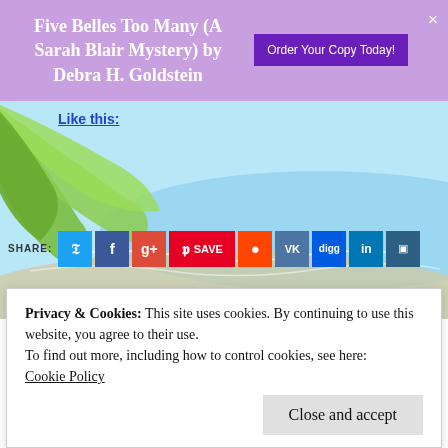Five Belles Too Many (A Sarah Blair Mystery) by Debra H. Goldstein
Order Your Copy Today!
[Figure (screenshot): Beach background with palm leaves, social share bar, and tags section showing SHARE buttons for Twitter, Facebook, Google+, Pinterest (SAVE), Reddit, VK, Digg, LinkedIn, Buffer. Tags: CHRYSTLE FIEDLER, COZY MYSTERY, GALLERY BOOKS, NATURAL REMEDIES, NEW YORK]
Like this:
SHARE:
TAGGED CHRYSTLE FIEDLER, COZY MYSTERY, GALLERY BOOKS, NATURAL REMEDIES, NEW YORK
Privacy & Cookies: This site uses cookies. By continuing to use this website, you agree to their use.
To find out more, including how to control cookies, see here:
Cookie Policy
Close and accept